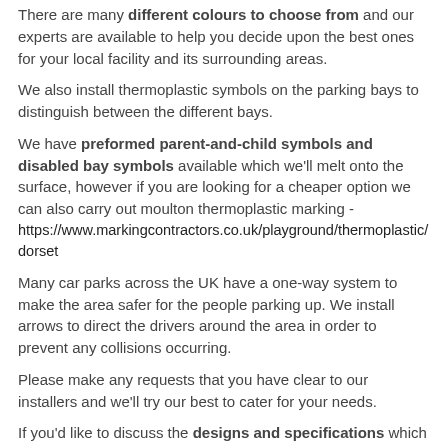There are many different colours to choose from and our experts are available to help you decide upon the best ones for your local facility and its surrounding areas.
We also install thermoplastic symbols on the parking bays to distinguish between the different bays.
We have preformed parent-and-child symbols and disabled bay symbols available which we'll melt onto the surface, however if you are looking for a cheaper option we can also carry out moulton thermoplastic marking - https://www.markingcontractors.co.uk/playground/thermoplastic/dorset
Many car parks across the UK have a one-way system to make the area safer for the people parking up. We install arrows to direct the drivers around the area in order to prevent any collisions occurring.
Please make any requests that you have clear to our installers and we'll try our best to cater for your needs.
If you'd like to discuss the designs and specifications which we already have available, simply send us your details using the